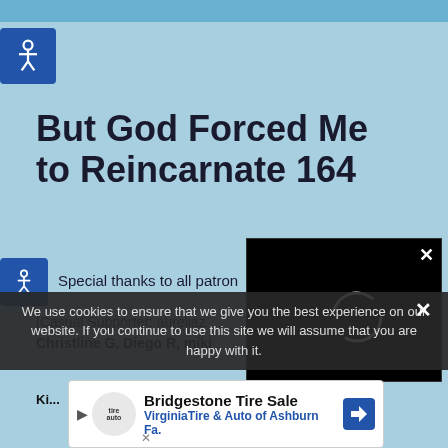[Figure (screenshot): Top header bar image, partially visible website header with blue background]
[Figure (logo): Accessibility button - blue square with wheelchair icon, top left]
But God Forced Me to Reincarnate 164
[Figure (logo): Accessibility button - blue square with wheelchair icon, left side]
Special thanks to all patron
[Casual Supporter: aurelia
Christline G, Diego R, mjkj
[Figure (screenshot): Video player overlay with black background and loading spinner circle, with X close button]
We use cookies to ensure that we give you the best experience on our website. If you continue to use this site we will assume that you are happy with it.
[Figure (screenshot): Advertisement banner: Bridgestone Tire Sale - Virginia Tire & Auto of Ashburn Fa.]